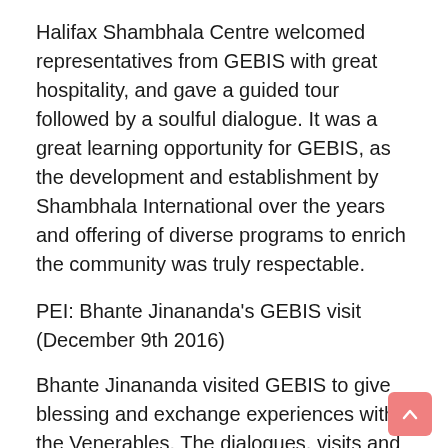Halifax Shambhala Centre welcomed representatives from GEBIS with great hospitality, and gave a guided tour followed by a soulful dialogue. It was a great learning opportunity for GEBIS, as the development and establishment by Shambhala International over the years and offering of diverse programs to enrich the community was truly respectable.
PEI: Bhante Jinananda's GEBIS visit (December 9th 2016)
Bhante Jinananda visited GEBIS to give blessing and exchange experiences with the Venerables. The dialogues, visits and sharing of experiences, were heartfelt and humbling experiences. It enabled GEBIS to learn, promote exchanges, build new friendship and collaborative opportunities, and together help shape and form peaceful communities.